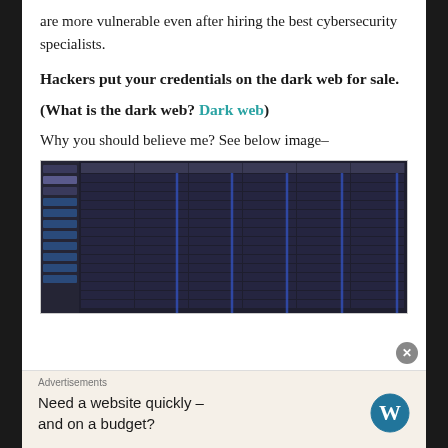are more vulnerable even after hiring the best cybersecurity specialists.
Hackers put your credentials on the dark web for sale.
(What is the dark web? Dark web)
Why you should believe me? See below image–
[Figure (screenshot): Dark-themed spreadsheet or database view showing columns of credential/data records with blue vertical lines overlaid]
Advertisements
Need a website quickly – and on a budget?